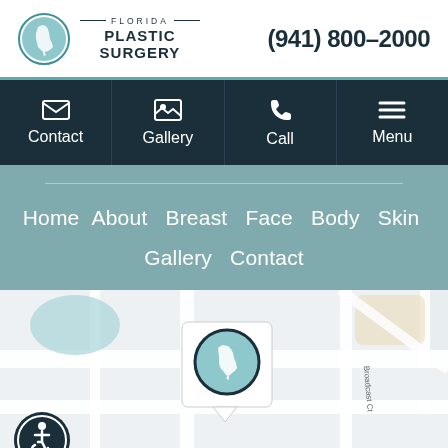[Figure (logo): Florida Plastic Surgery logo with teal circle containing Florida state outline, and text 'FLORIDA PLASTIC SURGERY']
(941) 800-2000
[Figure (infographic): Navigation bar with four items: Contact (envelope icon), Gallery (image icon), Call (phone icon), Menu (hamburger icon)]
Home  About  Breast  Face  Body  Skin  Gallery  Contact
[Figure (map): Google Maps view showing location with Florida Plastic Surgery map pin marker in center, roads and blocks visible, Broadcast Ct street label]